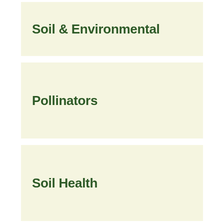Soil & Environmental
Pollinators
Soil Health
Trees & Plants